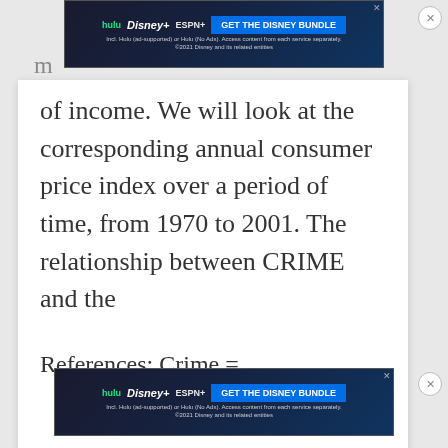[Figure (other): Hulu Disney+ ESPN+ advertisement banner at top of page saying GET THE DISNEY BUNDLE]
of income. We will look at the corresponding annual consumer price index over a period of time, from 1970 to 2001. The relationship between CRIME and the
References: Crime =
of significance of the independent
[Figure (other): Hulu Disney+ ESPN+ advertisement banner at bottom of page saying GET THE DISNEY BUNDLE]